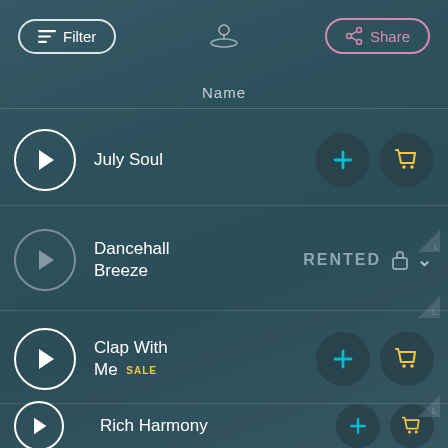[Figure (screenshot): Mobile music app UI with filter and share buttons in header, and a list of music tracks (July Soul, Dancehall Breeze - RENTED, Clap With Me SALE, Rich Harmony) each with play, add, and cart buttons on a teal/dark background.]
Filter
Share
Name
July Soul
Dancehall Breeze RENTED
Clap With Me SALE
Rich Harmony